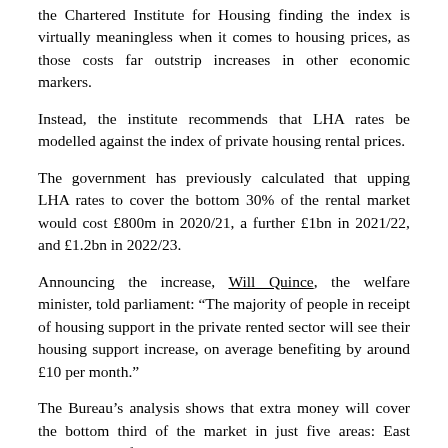the Chartered Institute for Housing finding the index is virtually meaningless when it comes to housing prices, as those costs far outstrip increases in other economic markers.
Instead, the institute recommends that LHA rates be modelled against the index of private housing rental prices.
The government has previously calculated that upping LHA rates to cover the bottom 30% of the rental market would cost £800m in 2020/21, a further £1bn in 2021/22, and £1.2bn in 2022/23.
Announcing the increase, Will Quince, the welfare minister, told parliament: “The majority of people in receipt of housing support in the private rented sector will see their housing support increase, on average benefiting by around £10 per month.”
The Bureau’s analysis shows that extra money will cover the bottom third of the market in just five areas: East Lancashire, Fife, Fylde Coast, South Lanarkshire and West Dunbartonshire.
Neate said: “What we really need the government to do, and do quickly, is increase housing benefit to a level that at least covers the cheapest third of private rents.”